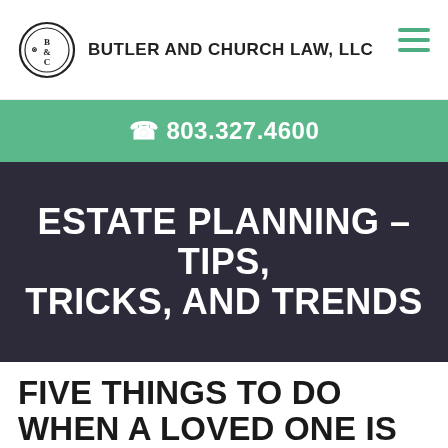BUTLER AND CHURCH LAW, LLC
803.327.4600
[Figure (illustration): Dark hero banner with blurred background image of people, overlaid with semi-transparent dark overlay]
ESTATE PLANNING – TIPS, TRICKS, AND TRENDS
FIVE THINGS TO DO WHEN A LOVED ONE IS